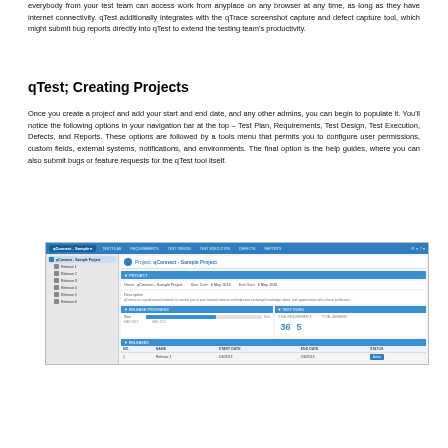everybody from your test team can access work from anyplace on any browser at any time, as long as they have internet connectivity. qTest additionally integrates with the qTrace screenshot capture and defect capture tool, which might submit bug reports directly into qTest to extend the testing team's productivity.
qTest; Creating Projects
Once you create a project and add your start and end date, and any other admins, you can begin to populate it. You'll notice the following options in your navigation bar at the top – Test Plan, Requirements, Test Design, Test Execution, Defects, and Reports. These options are followed by a tools menu that permits you to configure user permissions, custom fields, external systems, notifications, and environments. The final option is the help guides, where you can also submit bugs or feature requests for the qTest tool itself.
[Figure (screenshot): Screenshot of qTest project interface showing the qConnect Sample Project page with navigation bar (Test Plan, Requirements, Test Design, Test Execution, Defects, Reports), sidebar with releases, project details section showing Name, Start Date, End Date, Description, and panels showing Release Progress and Test Runs statistics (36 items, 5 total members).]